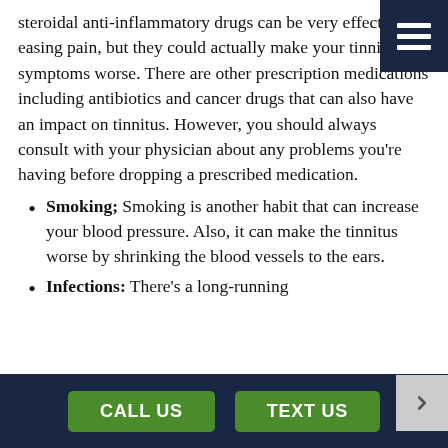steroidal anti-inflammatory drugs can be very effective at easing pain, but they could actually make your tinnitus symptoms worse. There are other prescription medications including antibiotics and cancer drugs that can also have an impact on tinnitus. However, you should always consult with your physician about any problems you're having before dropping a prescribed medication.
Smoking; Smoking is another habit that can increase your blood pressure. Also, it can make the tinnitus worse by shrinking the blood vessels to the ears.
Infections: There's a long-running
CALL US  TEXT US